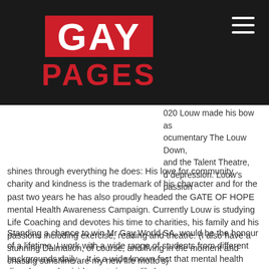[Figure (logo): Gay Pages logo: white GAY text on red background, red PAGES text below, all on dark/black background, with hamburger menu icon top right]
020 Louw made his bow as documentary The Louw Down, and the Talent Theatre, d depression. Louw's passion shines through everything he does: His love for community, charity and kindness is the trademark of his character and for the past two years he has also proudly headed the GATE OF HOPE mental Health Awareness Campaign. Currently Louw is studying Life Coaching and devotes his time to charities, his family and his passions including exercise, reading and theatre. (I also have a stunning Dalmation, of course, and living in the moment and chasing sunshine are my new life motto's)
Standing a chance to win Mr Gay World SA, would be the honour of a lifetime. I work with a wide range of students from different backgrounds daily... It is a wide known fact that mental health disorders and suicide are twice as likely